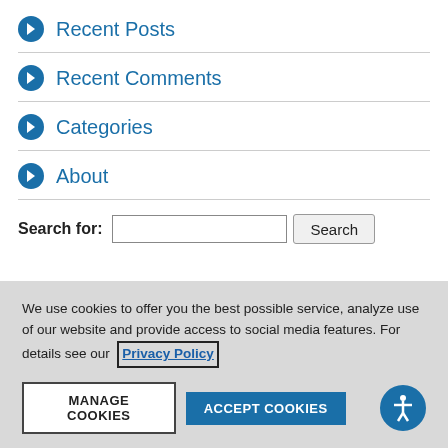Recent Posts
Recent Comments
Categories
About
Search for:
We use cookies to offer you the best possible service, analyze use of our website and provide access to social media features. For details see our Privacy Policy
MANAGE COOKIES
ACCEPT COOKIES